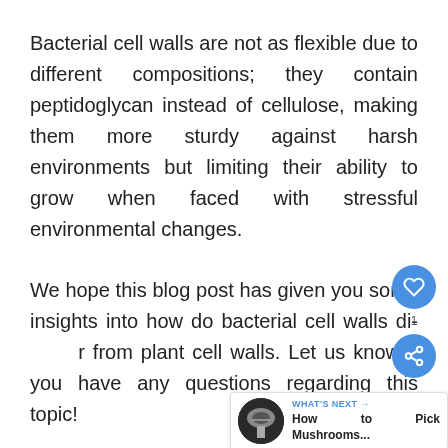Bacterial cell walls are not as flexible due to different compositions; they contain peptidoglycan instead of cellulose, making them more sturdy against harsh environments but limiting their ability to grow when faced with stressful environmental changes.
We hope this blog post has given you some insights into how do bacterial cell walls differ from plant cell walls. Let us know if you have any questions regarding this topic!